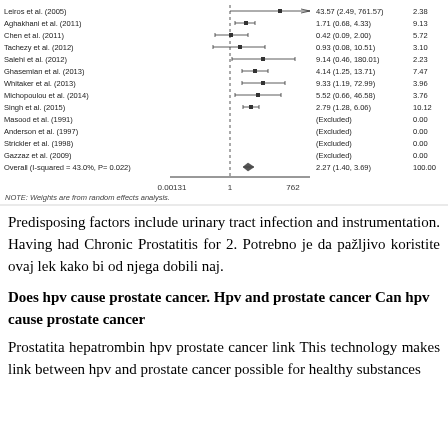[Figure (other): Forest plot showing meta-analysis of HPV and prostate cancer studies. Studies listed: Leiros et al. (2005) OR=43.57 (2.49,761.57) weight=2.38; Aghakhani et al. (2011) OR=1.71 (0.68,4.33) weight=9.13; Chen et al. (2011) OR=0.42 (0.09,2.00) weight=5.72; Tachezy et al. (2012) OR=0.93 (0.08,10.51) weight=3.10; Salehi et al. (2012) OR=9.14 (0.46,180.01) weight=2.23; Ghasemian et al. (2013) OR=4.14 (1.25,13.71) weight=7.47; Whitaker et al. (2013) OR=9.33 (1.19,72.99) weight=3.96; Michopoulou et al. (2014) OR=5.52 (0.66,46.58) weight=3.76; Singh et al. (2015) OR=2.79 (1.28,6.06) weight=10.12; Masood et al. (1991) Excluded weight=0.00; Anderson et al. (1997) Excluded weight=0.00; Strickler et al. (1998) Excluded weight=0.00; Gazzaz et al. (2009) Excluded weight=0.00; Overall (I-squared=43.0%, P=0.022) OR=2.27 (1.40,3.69) weight=100.00. NOTE: Weights are from random effects analysis. X-axis: 0.00131 to 762 with 1 marked.]
Predisposing factors include urinary tract infection and instrumentation. Having had Chronic Prostatitis for 2. Potrebno je da pažljivo koristite ovaj lek kako bi od njega dobili naj.
Does hpv cause prostate cancer. Hpv and prostate cancer Can hpv cause prostate cancer
Prostatita hepatrombin hpv prostate cancer link This technology makes link between hpv and prostate cancer possible for healthy substances